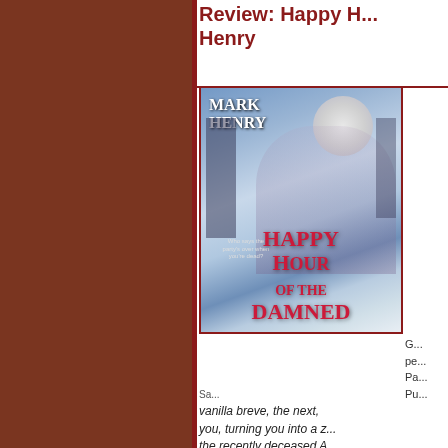Review: Happy H... Henry
[Figure (illustration): Book cover of 'Happy Hour of the Damned' by Mark Henry, showing a woman with long dark hair standing in front of a full moon with a gothic cityscape background. Title text in red gothic font at bottom.]
G... pe... Pa... Pu...
Sa... vanilla breve, the next, you, turning you into a z... the recently deceased A... through Seattle's unde... makeup, six inch stiletto...